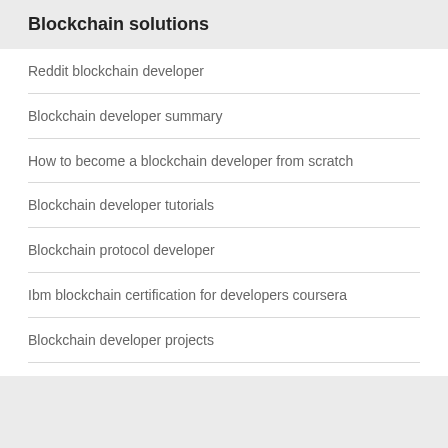Blockchain solutions
Reddit blockchain developer
Blockchain developer summary
How to become a blockchain developer from scratch
Blockchain developer tutorials
Blockchain protocol developer
Ibm blockchain certification for developers coursera
Blockchain developer projects
Developing blockchain software
Develop blockchain
Blockchain developer ukraine